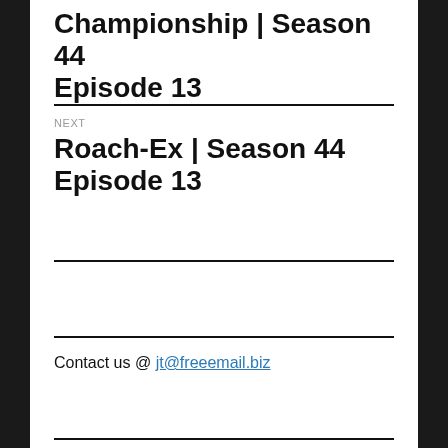Championship | Season 44 Episode 13
NEXT
Roach-Ex | Season 44 Episode 13
Contact us @ jt@freeemail.biz